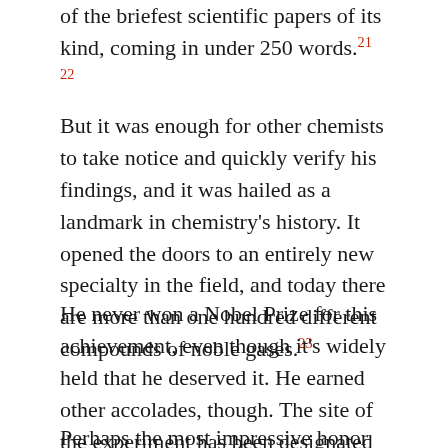of the briefest scientific papers of its kind, coming in under 250 words.21 22
But it was enough for other chemists to take notice and quickly verify his findings, and it was hailed as a landmark in chemistry's history. It opened the doors to an entirely new specialty in the field, and today there are more than one hundred different compounds of noble gases.23
He never won a Nobel Prize for this achievement, even though it's widely held that he deserved it. He earned other accolades, though. The site of the experiment has been designated an International Historic Chemical Landmark, and Chemical & Engineering News named it "one of the ten most beautiful experiments in the history of chemistry."24 25
Perhaps the most impressive honor he received came